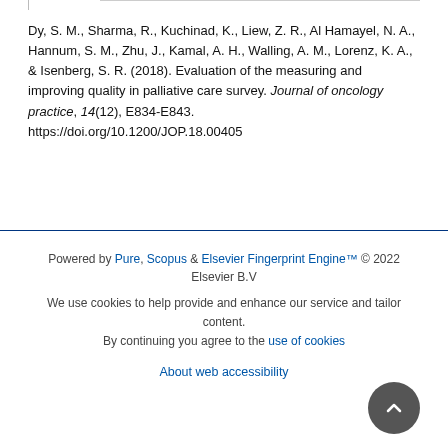Dy, S. M., Sharma, R., Kuchinad, K., Liew, Z. R., Al Hamayel, N. A., Hannum, S. M., Zhu, J., Kamal, A. H., Walling, A. M., Lorenz, K. A., & Isenberg, S. R. (2018). Evaluation of the measuring and improving quality in palliative care survey. Journal of oncology practice, 14(12), E834-E843. https://doi.org/10.1200/JOP.18.00405
Powered by Pure, Scopus & Elsevier Fingerprint Engine™ © 2022 Elsevier B.V
We use cookies to help provide and enhance our service and tailor content. By continuing you agree to the use of cookies
About web accessibility